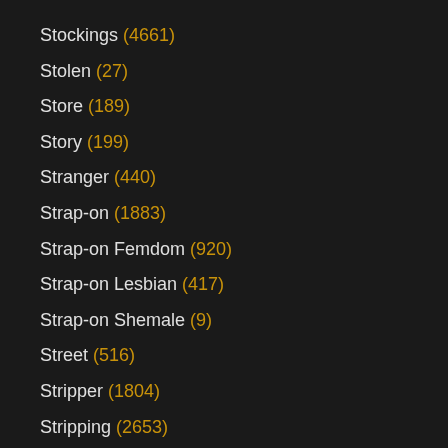Stockings (4661)
Stolen (27)
Store (189)
Story (199)
Stranger (440)
Strap-on (1883)
Strap-on Femdom (920)
Strap-on Lesbian (417)
Strap-on Shemale (9)
Street (516)
Stripper (1804)
Stripping (2653)
Stroking (602)
Stud (333)
Student (477)